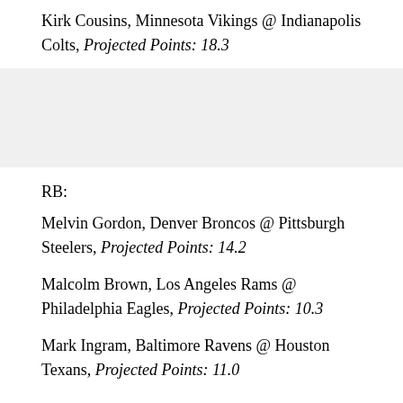Kirk Cousins, Minnesota Vikings @ Indianapolis Colts, Projected Points: 18.3
RB:
Melvin Gordon, Denver Broncos @ Pittsburgh Steelers, Projected Points: 14.2
Malcolm Brown, Los Angeles Rams @ Philadelphia Eagles, Projected Points: 10.3
Mark Ingram, Baltimore Ravens @ Houston Texans, Projected Points: 11.0